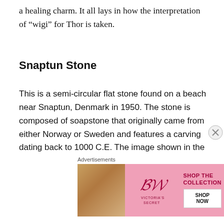a healing charm. It all lays in how the interpretation of “wigi” for Thor is taken.
Snaptun Stone
This is a semi-circular flat stone found on a beach near Snaptun, Denmark in 1950. The stone is composed of soapstone that originally came from either Norway or Sweden and features a carving dating back to 1000 C.E. The image shown in the carving is a face with scarred lips, which is identified with that of Loki. The scarred lips are thought to be in reference to a story found in the Skáldskaparmal where the sons of Ivaldi stitched Loki’s lips shut.
Advertisements
[Figure (photo): Victoria's Secret advertisement showing a model with curly hair next to the VS logo and SHOP THE COLLECTION / SHOP NOW call to action.]